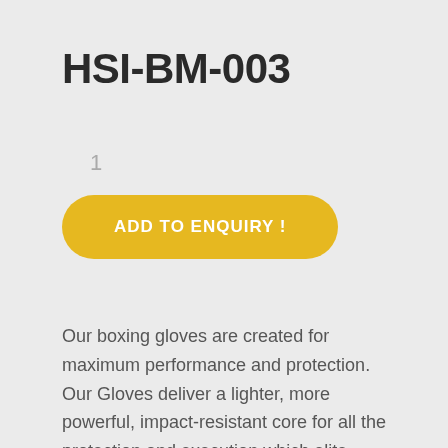HSI-BM-003
1
ADD TO ENQUIRY !
Our boxing gloves are created for maximum performance and protection. Our Gloves deliver a lighter, more powerful, impact-resistant core for all the protection and execution which elite athletes demand in their sparring and training. Our Gloves constructed of